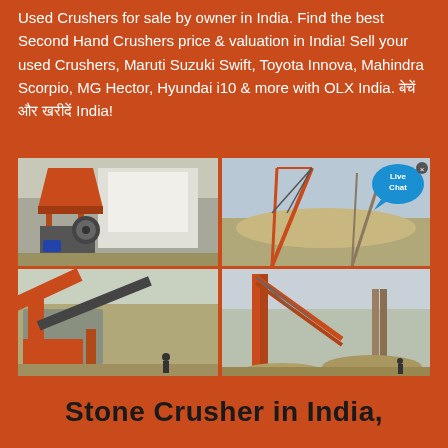Used Crushers for sale by owner in India. Find the best Second Hand Crushers price & valuation in India! Sell your used Crushers, Maruti Suzuki Swift, Toyota Innova, Mahindra Scorpio, MG Hector, Hyundai i10 & more with OLX India. बेचें और खरीदें India!
[Figure (photo): Four photos of stone crusher machinery in industrial settings arranged in a 2x2 grid. Top-left: orange crusher machine near a building. Top-right: crane/conveyor equipment at quarry site. Bottom-left: orange conveyor belt system. Bottom-right: tall orange conveyor structure at quarry.]
Stone Crusher in India,